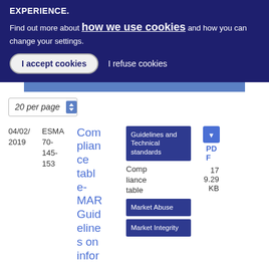EXPERIENCE.
Find out more about how we use cookies and how you can change your settings.
I accept cookies | I refuse cookies
20 per page
| Date | Reference | Title | Type | Category | Format | Size |
| --- | --- | --- | --- | --- | --- | --- |
| 04/02/2019 | ESMA 70-145-153 | Compliance table-MAR Guidelines on infor | Compliance table | Guidelines and Technical standards | Market Abuse | Market Integrity | PDF | 17 9.29 KB |